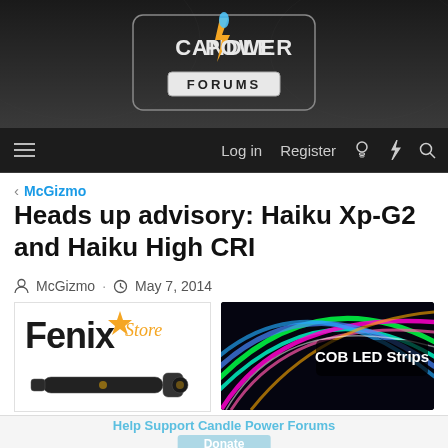Candle Power Forums
Log in  Register
< McGizmo
Heads up advisory: Haiku Xp-G2 and Haiku High CRI
McGizmo · May 7, 2014
[Figure (photo): Fenix Store advertisement banner featuring a black flashlight]
[Figure (photo): COB LED Strips advertisement banner with colorful glowing LED strip lights]
Help Support Candle Power Forums
Donate